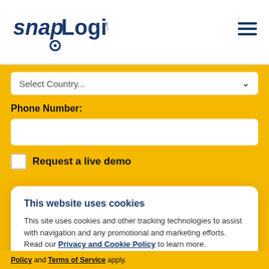[Figure (logo): SnapLogic logo with stylized text and circular icon]
[Figure (other): Hamburger menu icon (three horizontal lines) in dark blue]
Select Country...
Phone Number:
Request a live demo
This website uses cookies
This site uses cookies and other tracking technologies to assist with navigation and any promotional and marketing efforts. Read our Privacy and Cookie Policy to learn more.
Allow all cookies
Use necessary cookies only
Policy and Terms of Service apply.